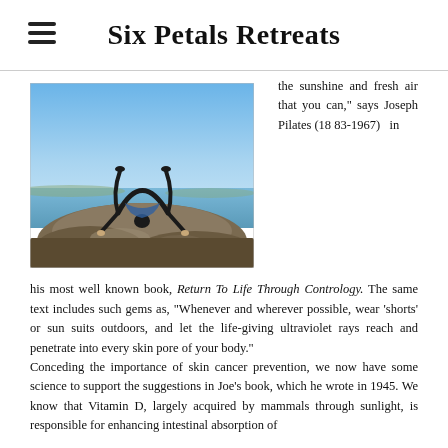Six Petals Retreats
[Figure (photo): Person performing a backbend yoga pose on coastal rocks with ocean and blue sky in background]
the sunshine and fresh air that you can," says Joseph Pilates (1883-1967) in his most well known book, Return To Life Through Contrology. The same text includes such gems as, "Whenever and wherever possible, wear 'shorts' or sun suits outdoors, and let the life-giving ultraviolet rays reach and penetrate into every skin pore of your body."
Conceding the importance of skin cancer prevention, we now have some science to support the suggestions in Joe's book, which he wrote in 1945. We know that Vitamin D, largely acquired by mammals through sunlight, is responsible for enhancing intestinal absorption of